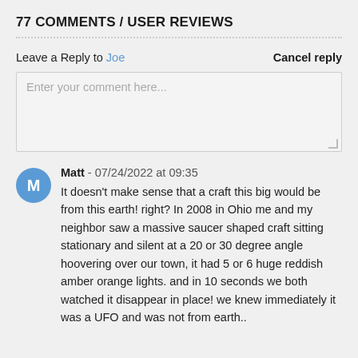77 COMMENTS / USER REVIEWS
Leave a Reply to Joe
Cancel reply
Enter your comment here...
Matt - 07/24/2022 at 09:35
It doesn't make sense that a craft this big would be from this earth! right? In 2008 in Ohio me and my neighbor saw a massive saucer shaped craft sitting stationary and silent at a 20 or 30 degree angle hoovering over our town, it had 5 or 6 huge reddish amber orange lights. and in 10 seconds we both watched it disappear in place! we knew immediately it was a UFO and was not from earth..